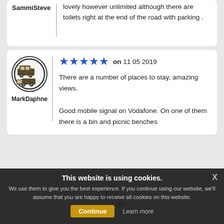SammiSteve — lovely however unlimited although there are toilets right at the end of the road with parking .
MarkDaphne — ★★★★★ on 11 05 2019 — There are a number of places to stay, amazing views. Good mobile signal on Vodafone. On one of them there is a bin and picnic benches
[Figure (illustration): Location pin plus icon for Around this place section]
Around this place
This website is using cookies. We use them to give you the best experience. If you continue using our website, we'll assume that you are happy to receive all cookies on this website. Continue | Learn more